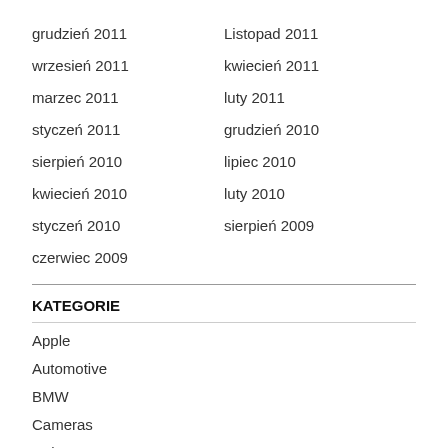grudzień 2011
Listopad 2011
wrzesień 2011
kwiecień 2011
marzec 2011
luty 2011
styczeń 2011
grudzień 2010
sierpień 2010
lipiec 2010
kwiecień 2010
luty 2010
styczeń 2010
sierpień 2009
czerwiec 2009
KATEGORIE
Apple
Automotive
BMW
Cameras
Dakar